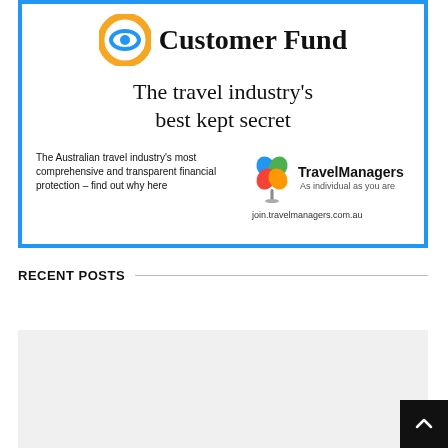[Figure (illustration): TravelManagers Customer Fund advertisement banner with blue border. Top section shows orange/blue eye-like logo and 'Customer Fund' text. Middle shows tagline 'The travel industry's best kept secret'. Bottom shows description text on left and TravelManagers logo with clover icon on right.]
RECENT POSTS
[Figure (photo): Gray placeholder image for a recent post card at the bottom of the page.]